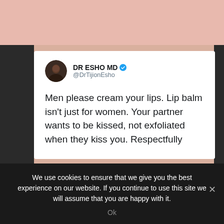[Figure (screenshot): Screenshot of a tweet by DR ESHO MD (@DrTijionEsho) with a verified blue checkmark. The tweet reads: 'Men please cream your lips. Lip balm isn't just for women. Your partner wants to be kissed, not exfoliated when they kiss you. Respectfully'. The image is shared by @BLACKBEAUTYMAG watermark visible below the tweet card. Below the tweet area is a cookie consent banner.]
We use cookies to ensure that we give you the best experience on our website. If you continue to use this site we will assume that you are happy with it.
Ok